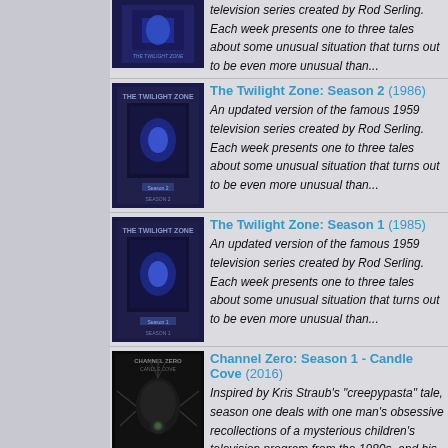The Twilight Zone: Season 2 (1986) — An updated version of the famous 1959 television series created by Rod Serling. Each week presents one to three tales about some unusual situation that turns out to be even more unusual than...
The Twilight Zone: Season 1 (1985) — An updated version of the famous 1959 television series created by Rod Serling. Each week presents one to three tales about some unusual situation that turns out to be even more unusual than...
Channel Zero: Season 1 - Candle Cove (2016) — Inspired by Kris Straub's "creepypasta" tale, season one deals with one man's obsessive recollections of a mysterious children's television program from the 1980s, and his ever-growing suspicions...
Channel Zero: Season 2 - No-End House (2017) — Inspired by Brian Russell's "Creepypasta" tale, season two tells the story of Margot Sleator, a young woman who visits the No-End House, a bizarre house of horrors that...